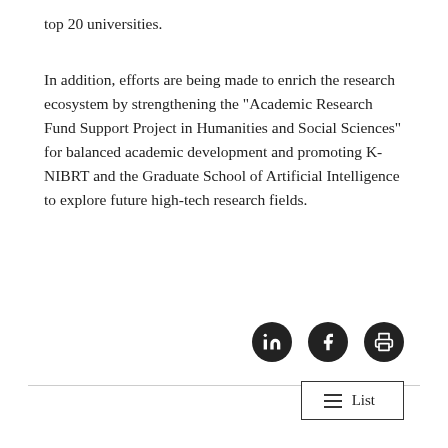top 20 universities.
In addition, efforts are being made to enrich the research ecosystem by strengthening the "Academic Research Fund Support Project in Humanities and Social Sciences" for balanced academic development and promoting K-NIBRT and the Graduate School of Artificial Intelligence to explore future high-tech research fields.
[Figure (other): Three social sharing icons: LinkedIn, Facebook, and Print, displayed as white icons on black circular backgrounds.]
List